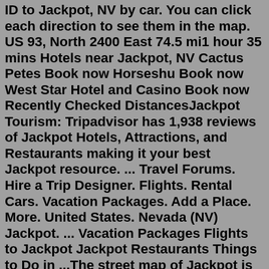ID to Jackpot, NV by car. You can click each direction to see them in the map. US 93, North 2400 East 74.5 mi1 hour 35 mins Hotels near Jackpot, NV Cactus Petes Book now Horseshu Book now West Star Hotel and Casino Book now Recently Checked DistancesJackpot Tourism: Tripadvisor has 1,938 reviews of Jackpot Hotels, Attractions, and Restaurants making it your best Jackpot resource. ... Travel Forums. Hire a Trip Designer. Flights. Rental Cars. Vacation Packages. Add a Place. More. United States. Nevada (NV) Jackpot. ... Vacation Packages Flights to Jackpot Jackpot Restaurants Things to Do in ...The street map of Jackpot is the most basic version which provides you with a comprehensive outline of the city's essentials. The satellite view will help you to navigate your way through foreign places with more precise image of the location. View Google Map for locations near Jackpot : San Jacinto, Contact, Rogerson, Henry, Three CreekFind Jackpot in 19 listings to on Casinos related YP com See and best numbers Jackpot, in the phone Casinos